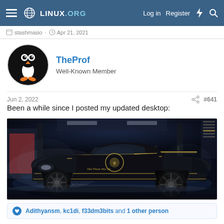Linux.org — Log in  Register
TheProf
Well-Known Member
Jun 2, 2022  #641
Been a while since I posted my updated desktop:
[Figure (photo): Screenshot of a Linux desktop with a dark-themed wallpaper showing a black and gold wide-body Porsche 911 RWB in a garage]
Adithyansm, kc1di, f33dm3bits and 1 other person